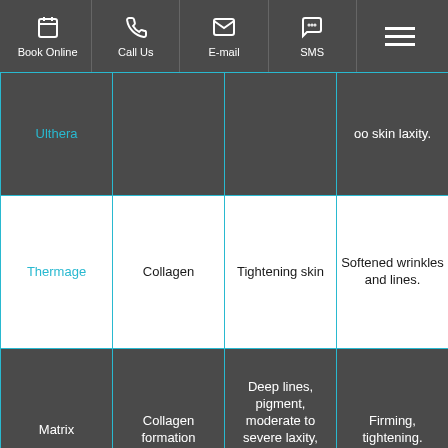Book Online | Call Us | E-mail | SMS | Menu
| Treatment | Target | Treats | Results |
| --- | --- | --- | --- |
| Ulthera |  |  | ...skin laxity. |
| Thermage | Collagen | Tightening skin | Softened wrinkles and lines. |
| Matrix | Collagen formation | Deep lines, pigment, moderate to severe laxity, tone and texture issues. | Firming, tightening. |
|  | Vascularity, collagen, pigment | Leg veins, acne, unwanted hair. | Wrinkle treatment. |